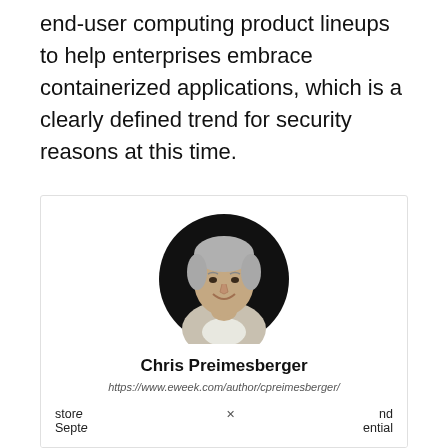end-user computing product lineups to help enterprises embrace containerized applications, which is a clearly defined trend for security reasons at this time.
[Figure (photo): Circular portrait photo of Chris Preimesberger, a man with grey hair, smiling, on a dark background.]
Chris Preimesberger
https://www.eweek.com/author/cpreimesberger/
Chris J. Preimesberger is Editor Emeritus of eWEEK. In his 16 years and more than 5,000 articles at eWEEK, he distinguished himself in reporting and analysis of the business use of new-gen IT in a variety of sectors, including cloud computing, data center systems, stora... nd Septe... ential